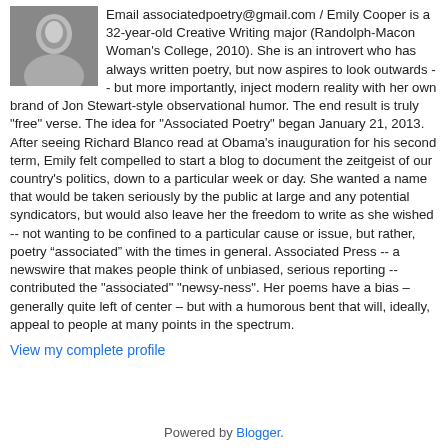[Figure (photo): Black and white photo of a woman, profile/headshot]
Email associatedpoetry@gmail.com / Emily Cooper is a 32-year-old Creative Writing major (Randolph-Macon Woman's College, 2010). She is an introvert who has always written poetry, but now aspires to look outwards -- but more importantly, inject modern reality with her own brand of Jon Stewart-style observational humor. The end result is truly "free" verse. The idea for "Associated Poetry" began January 21, 2013. After seeing Richard Blanco read at Obama's inauguration for his second term, Emily felt compelled to start a blog to document the zeitgeist of our country's politics, down to a particular week or day. She wanted a name that would be taken seriously by the public at large and any potential syndicators, but would also leave her the freedom to write as she wished -- not wanting to be confined to a particular cause or issue, but rather, poetry “associated” with the times in general. Associated Press -- a newswire that makes people think of unbiased, serious reporting -- contributed the "associated" "newsy-ness". Her poems have a bias – generally quite left of center – but with a humorous bent that will, ideally, appeal to people at many points in the spectrum.
View my complete profile
Powered by Blogger.